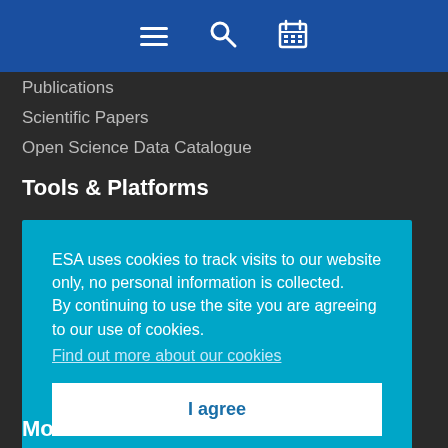[navigation bar with menu, search, and calendar icons]
Publications
Scientific Papers
Open Science Data Catalogue
Tools & Platforms
ESA uses cookies to track visits to our website only, no personal information is collected.
By continuing to use the site you are agreeing to our use of cookies.
Find out more about our cookies
I agree
More